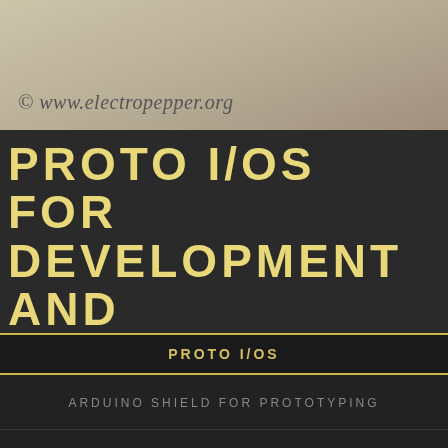[Figure (screenshot): Screenshot of electropepper.org website with watermark overlay]
PROTO I/OS FOR DEVELOPMENT AND
PROTO I/OS
ARDUINO SHIELD FOR PROTOTYPING
DIGITAL COUNTER
ETCHING TANK
ARTICLES IN CATEGORY: NEWS
NEW VIDEO FROM THE